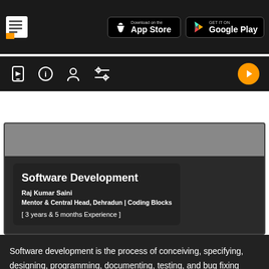[Figure (screenshot): Top navigation bar with app logo, App Store and Google Play download buttons]
[Figure (screenshot): Secondary navigation bar with icons: video player, info, profile, settings, and orange play button]
Software Development
Raj Kumar Saini
Mentor & Central Head, Dehradun | Coding Blocks
[ 3 years & 5 months Experience ]
Software development is the process of conceiving, specifying, designing, programming, documenting, testing, and bug fixing involved in creating and maintaining applications, frameworks, or other...